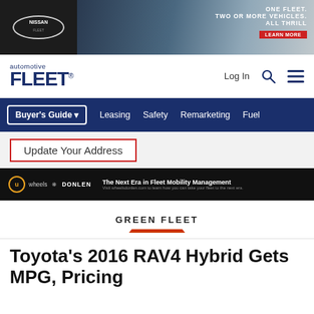[Figure (photo): Nissan advertisement banner: One Fleet. Two or More Vehicles. All Thrill. Learn More button.]
automotive FLEET
Buyer's Guide   Leasing   Safety   Remarketing   Fuel
Update Your Address
[Figure (photo): Wheels Donlen advertisement: The Next Era in Fleet Mobility Management. Visit wheelsdonlen.com to learn how you can take your fleet to the next era.]
GREEN FLEET
Toyota's 2016 RAV4 Hybrid Gets MPG, Pricing